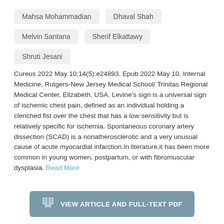Mahsa Mohammadian
Dhaval Shah
Melvin Santana
Sherif Elkattawy
Shruti Jesani
Cureus 2022 May 10;14(5):e24893. Epub 2022 May 10. Internal Medicine, Rutgers-New Jersey Medical School/Trinitas Regional Medical Center, Elizabeth, USA. Levine's sign is a universal sign of ischemic chest pain, defined as an individual holding a clenched fist over the chest that has a low sensitivity but is relatively specific for ischemia. Spontaneous coronary artery dissection (SCAD) is a nonatherosclerotic and a very unusual cause of acute myocardial infarction.In literature,it has been more common in young women, postpartum, or with fibromuscular dysplasia. Read More
VIEW ARTICLE AND FULL-TEXT PDF